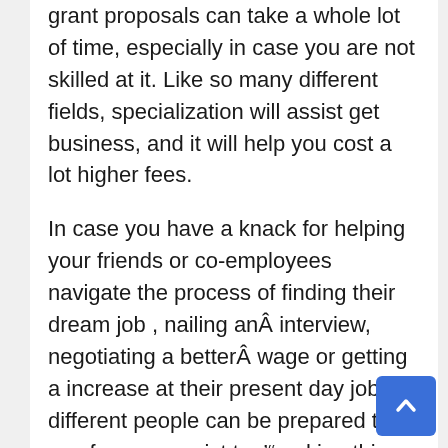grant proposals can take a whole lot of time, especially in case you are not skilled at it. Like so many different fields, specialization will assist get business, and it will help you cost a lot higher fees.
In case you have a knack for helping your friends or co-employees navigate the process of finding their dream job , nailing an interview, negotiating a better wage or getting a increase at their present day job, different people can be prepared to pay for your assist too'”making this an excellent aspect business idea that does not take too much time.
Take heed to my interview with serial entrepreneur and investor, Michele Romanow